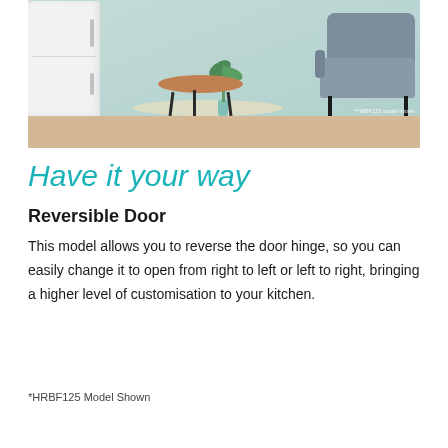[Figure (photo): Lifestyle photo of a white refrigerator/freezer on the left side, with a round wooden coffee table, gray armchair, and a plant in a vase on the right. Light wood floor and mint/teal wall background. Watermark text 'HRBF125 model shown' in bottom right corner.]
Have it your way
Reversible Door
This model allows you to reverse the door hinge, so you can easily change it to open from right to left or left to right, bringing a higher level of customisation to your kitchen.
*HRBF125 Model Shown